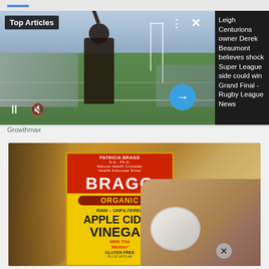[Figure (photo): Top Articles card showing a rugby celebration scene at a stadium with players on a field. Overlay shows 'Top Articles' badge, dots menu icon, X close button, and a blue arrow button. Bottom left has pause and mute icons.]
Leigh Centurions owner Derek Beaumont believes shock Super League side could win Grand Final - Rugby League News
Growthmax
[Figure (photo): Photo of a Bragg Organic Raw Unfiltered Apple Cider Vinegar bottle next to a hand holding a small white cap/container. The bottle has a red and yellow label. An X close button appears at the bottom right.]